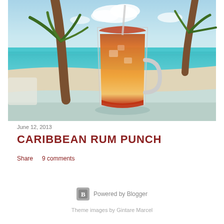[Figure (photo): A glass mug filled with a layered Caribbean rum punch drink (red at bottom, orange-yellow gradient upward, with ice and a straw), sitting on a light blue surface on a tropical beach with white sand, turquoise water, palm tree, and blue sky in background.]
June 12, 2013
CARIBBEAN RUM PUNCH
Share    9 comments
Powered by Blogger
Theme images by Gintare Marcel